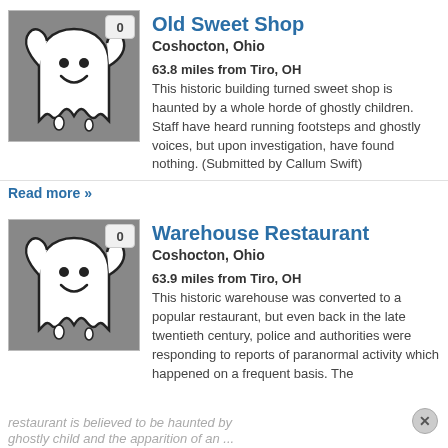[Figure (illustration): Ghost cartoon illustration on grey background with vote badge showing 0]
Old Sweet Shop
Coshocton, Ohio
63.8 miles from Tiro, OH
This historic building turned sweet shop is haunted by a whole horde of ghostly children. Staff have heard running footsteps and ghostly voices, but upon investigation, have found nothing. (Submitted by Callum Swift)
Read more »
[Figure (illustration): Ghost cartoon illustration on grey background with vote badge showing 0]
Warehouse Restaurant
Coshocton, Ohio
63.9 miles from Tiro, OH
This historic warehouse was converted to a popular restaurant, but even back in the late twentieth century, police and authorities were responding to reports of paranormal activity which happened on a frequent basis. The restaurant is believed to be haunted by
ghostly child and the apparition of an ...